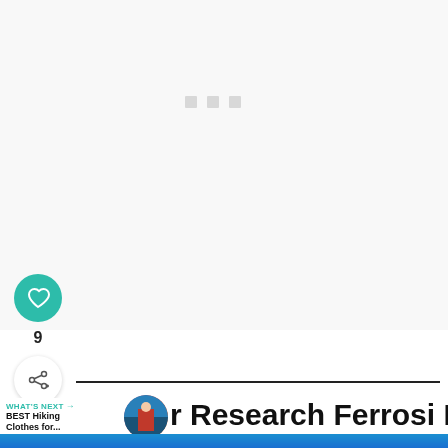[Figure (other): Large light gray blank loading area with three small gray squares (loading indicator) centered near top]
[Figure (other): Teal circular heart/like button]
9
[Figure (other): White circular share button with share icon]
WHAT'S NEXT → BEST Hiking Clothes for...
[Figure (photo): Circular thumbnail photo of hiker in red jacket on mountain]
r Research Ferrosi Pants
[Figure (photo): Blue sky with white clouds photo strip at bottom]